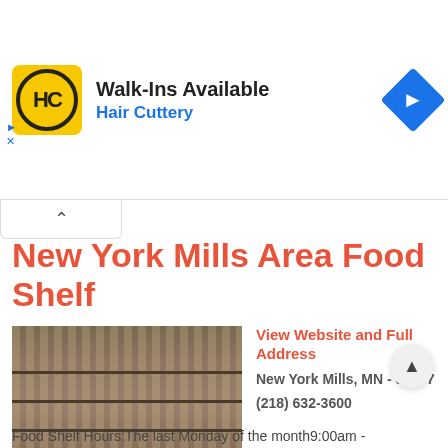[Figure (screenshot): Hair Cuttery advertisement banner with logo and walk-ins available text]
New York Mills Area Food Shelf
[Figure (photo): Interior photo of food shelf showing shelves stocked with food items]
View Website and Full Address
New York Mills, MN - 56567
(218) 632-3600
Food Pantry Location: 13.20 miles from Henning
Email
Food Shelf Hours:The last Monday of the month9:00am -